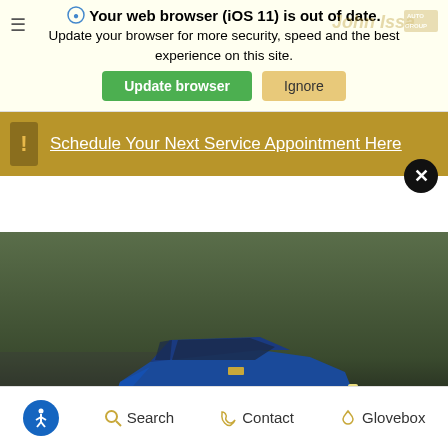Your web browser (iOS 11) is out of date. Update your browser for more security, speed and the best experience on this site.
Update browser | Ignore
Schedule Your Next Service Appointment Here
[Figure (photo): Blue Chevrolet Camaro sports car driving on a road with trees in background]
Accessibility | Search | Contact | Glovebox